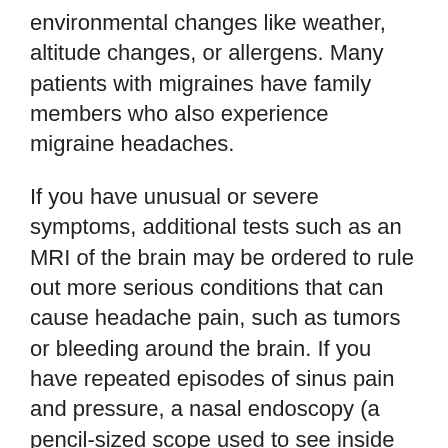environmental changes like weather, altitude changes, or allergens. Many patients with migraines have family members who also experience migraine headaches.
If you have unusual or severe symptoms, additional tests such as an MRI of the brain may be ordered to rule out more serious conditions that can cause headache pain, such as tumors or bleeding around the brain. If you have repeated episodes of sinus pain and pressure, a nasal endoscopy (a pencil-sized scope used to see inside the nose and sinuses) or imaging such as an MRI or CT scan can determine if sinus pain or pressure is due to a